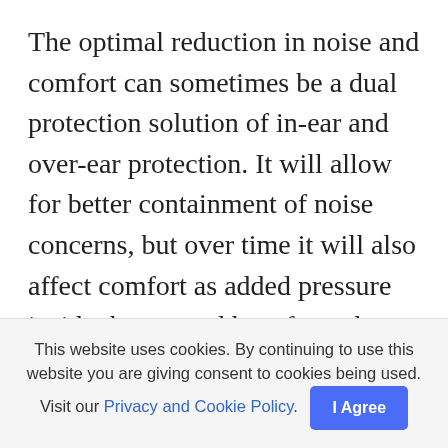The optimal reduction in noise and comfort can sometimes be a dual protection solution of in-ear and over-ear protection. It will allow for better containment of noise concerns, but over time it will also affect comfort as added pressure inside the ear and heat from the over-the-ear protection can contribute to the lack of comfort for the user.

Furthermore, the pressure that the highest NRR rated earmuffs (over the ear) put on the
This website uses cookies. By continuing to use this website you are giving consent to cookies being used. Visit our Privacy and Cookie Policy. I Agree